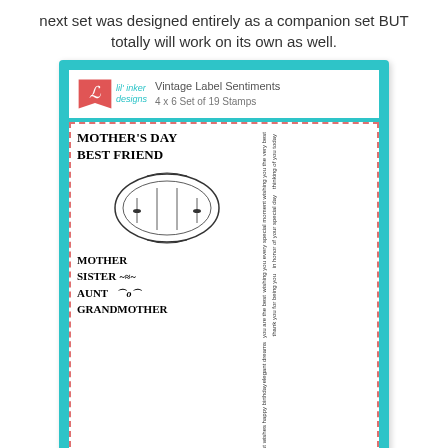next set was designed entirely as a companion set BUT totally will work on its own as well.
[Figure (illustration): Product image for Lil' Inker Designs 'Vintage Label Sentiments' stamp set, 4x6 Set of 19 Stamps. Teal background card showing stamp set contents including words like MOTHER'S DAY, BEST FRIEND, MOTHER, SISTER, AUNT, GRANDMOTHER on a white background with dashed red border. Logo in top left corner. Website www.lilinkerdesigns.com at bottom.]